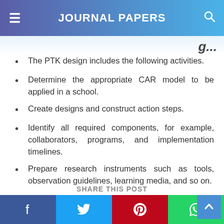JOURNAL PAPERS
The PTK design includes the following activities.
Determine the appropriate CAR model to be applied in a school.
Create designs and construct action steps.
Identify all required components, for example, collaborators, programs, and implementation timelines.
Prepare research instruments such as tools, observation guidelines, learning media, and so on.
SHARE THIS POST